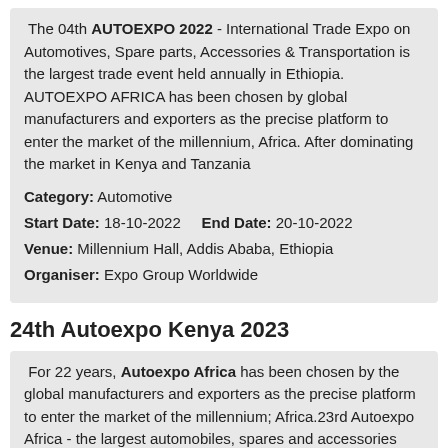The 04th AUTOEXPO 2022 - International Trade Expo on Automotives, Spare parts, Accessories & Transportation is the largest trade event held annually in Ethiopia. AUTOEXPO AFRICA has been chosen by global manufacturers and exporters as the precise platform to enter the market of the millennium, Africa. After dominating the market in Kenya and Tanzania
Category: Automotive
Start Date: 18-10-2022  End Date: 20-10-2022
Venue: Millennium Hall, Addis Ababa, Ethiopia
Organiser: Expo Group Worldwide
24th Autoexpo Kenya 2023
For 22 years, Autoexpo Africa has been chosen by the global manufacturers and exporters as the precise platform to enter the market of the millennium; Africa.23rd Autoexpo Africa - the largest automobiles, spares and accessories exhibition in the entire east African region is scheduled to be held from 04th to 06th May 2023.
Category: Automotive